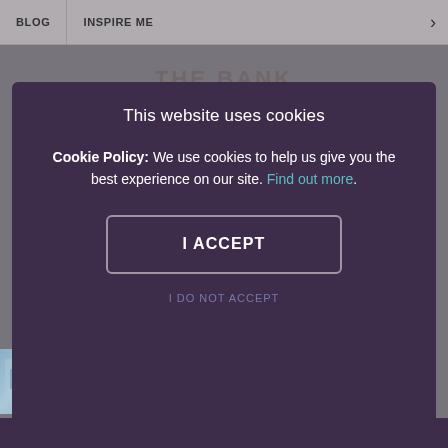BLOG   INSPIRE ME
THE BANK
This website uses cookies

Cookie Policy: We use cookies to help us give you the best experience on our site. Find out more.

I ACCEPT

I DO NOT ACCEPT
[Figure (screenshot): Row of five thumbnail images showing interior scenes of a restaurant/bar venue]
[Figure (other): Bottom purple navigation bar]